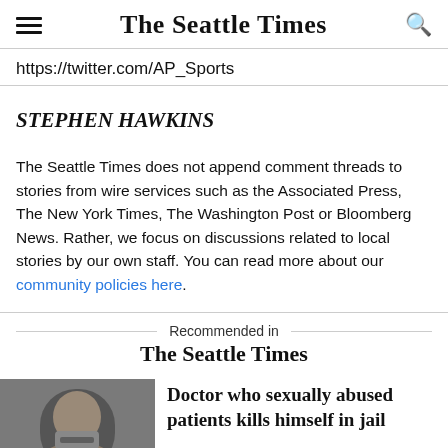The Seattle Times
https://twitter.com/AP_Sports
STEPHEN HAWKINS
The Seattle Times does not append comment threads to stories from wire services such as the Associated Press, The New York Times, The Washington Post or Bloomberg News. Rather, we focus on discussions related to local stories by our own staff. You can read more about our community policies here.
Recommended in The Seattle Times
Doctor who sexually abused patients kills himself in jail